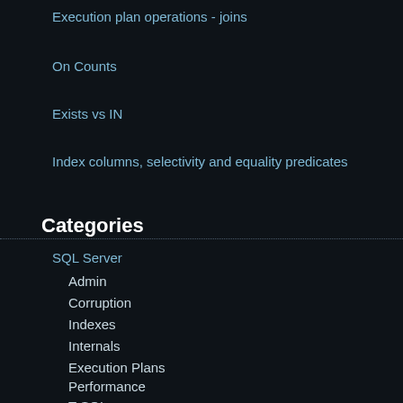Execution plan operations - joins
On Counts
Exists vs IN
Index columns, selectivity and equality predicates
Categories
SQL Server
Admin
Corruption
Indexes
Internals
Execution Plans
Performance
T-SQL